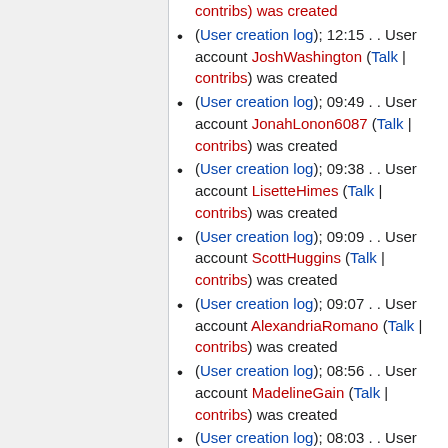(User creation log); 12:15 . . User account JoshWashington (Talk | contribs) was created
(User creation log); 09:49 . . User account JonahLonon6087 (Talk | contribs) was created
(User creation log); 09:38 . . User account LisetteHimes (Talk | contribs) was created
(User creation log); 09:09 . . User account ScottHuggins (Talk | contribs) was created
(User creation log); 09:07 . . User account AlexandriaRomano (Talk | contribs) was created
(User creation log); 08:56 . . User account MadelineGain (Talk | contribs) was created
(User creation log); 08:03 . . User account AveryAlmonte059 (Talk | contribs) was created
(User creation log); 07:36 . . User